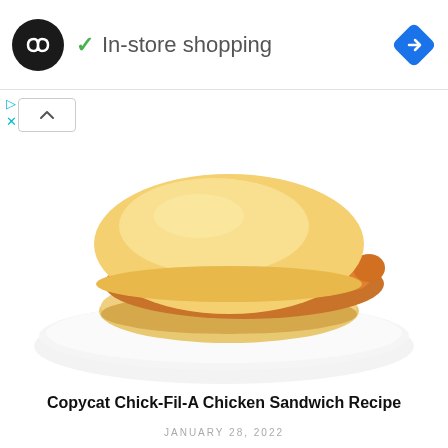In-store shopping
[Figure (photo): A fried chicken sandwich on a white plate with a golden bun]
Copycat Chick-Fil-A Chicken Sandwich Recipe
JANUARY 28, 2022